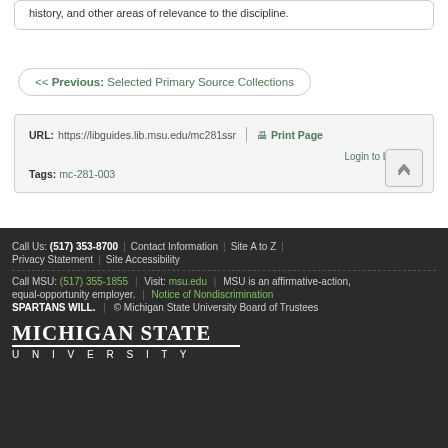history, and other areas of relevance to the discipline.
<< Previous: Selected Primary Source Collections
URL: https://libguides.lib.msu.edu/mc281ssr | Print Page
Login to LibApps
Tags: mc-281-003
Call Us: (517) 353-8700 | Contact Information | Site A to Z | Privacy Statement | Site Accessibility
Call MSU: (517) 355-1855 | Visit: msu.edu | MSU is an affirmative-action, equal-opportunity employer. | Notice of Nondiscrimination
SPARTANS WILL. | © Michigan State University Board of Trustees
MICHIGAN STATE UNIVERSITY